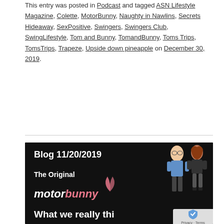This entry was posted in Podcast and tagged ASN Lifestyle Magazine, Colette, MotorBunny, Naughty in Nawlins, Secrets Hideaway, SexPositive, Swingers, Swingers Club, SwingLifestyle, Tom and Bunny, TomandBunny, Toms Trips, TomsTrips, Trapeze, Upside down pineapple on December 30, 2019.
[Figure (illustration): Dark/black background promotional image reading 'Blog 11/20/2019', 'The Original', 'motorbunny' logo in white and pink, 'What we really thi...' text at bottom, cartoon illustrations of a man and woman on the right side, with a partial reCAPTCHA Privacy/Terms badge in lower right corner.]